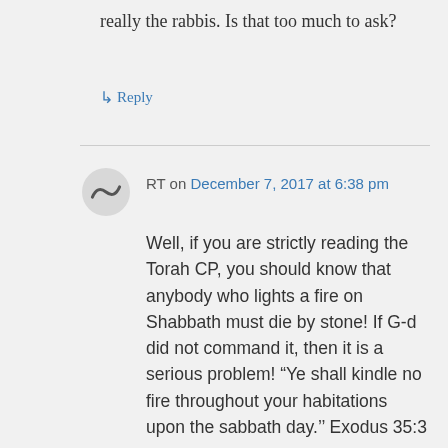really the rabbis. Is that too much to ask?
↳ Reply
RT on December 7, 2017 at 6:38 pm
Well, if you are strictly reading the Torah CP, you should know that anybody who lights a fire on Shabbath must die by stone! If G-d did not command it, then it is a serious problem! “Ye shall kindle no fire throughout your habitations upon the sabbath day.’’ Exodus 35:3

Two possibilities: